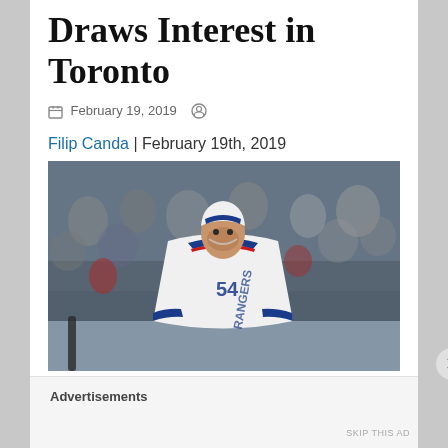Draws Interest in Toronto
February 19, 2019
Filip Canda | February 19th, 2019
[Figure (photo): Hockey player wearing New York Rangers white jersey with number 54 and helmet, standing on ice with crowd in background]
Advertisements